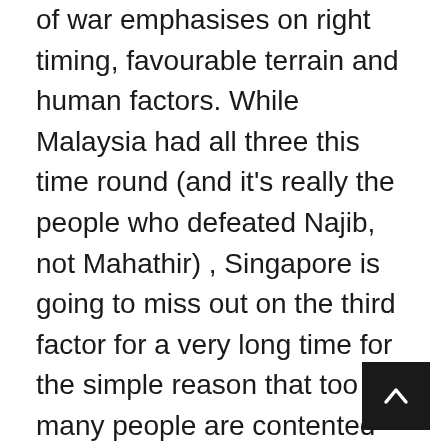of war emphasises on right timing, favourable terrain and human factors. While Malaysia had all three this time round (and it's really the people who defeated Najib, not Mahathir) , Singapore is going to miss out on the third factor for a very long time for the simple reason that too many people are contented and not bothered with right and wrong. So what if the government keeps taxing us indirectly to provide itself with a super wide margin of safety for itself at our expense? People are still surviving. They are still shopping, buying cars and going on holidays. Why rock the boat when you can't see what's going